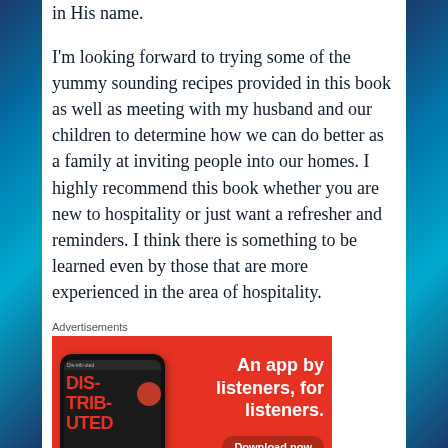in His name.
I'm looking forward to trying some of the yummy sounding recipes provided in this book as well as meeting with my husband and our children to determine how we can do better as a family at inviting people into our homes. I highly recommend this book whether you are new to hospitality or just want a refresher and reminders. I think there is something to be learned even by those that are more experienced in the area of hospitality.
Advertisements
[Figure (other): Advertisement banner with red background. Left side shows a smartphone displaying 'Distributed' app. Right side has bold white text: 'An app by listeners, for listeners.' with a 'Download now' button.]